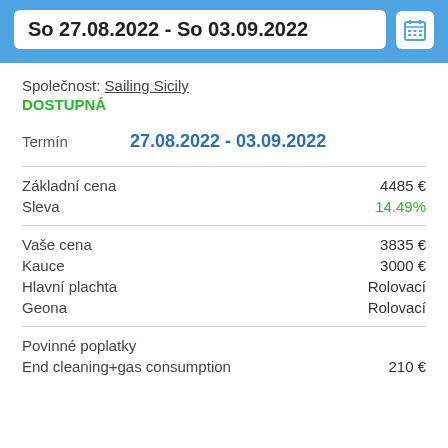So 27.08.2022 - So 03.09.2022
Společnost: Sailing Sicily
DOSTUPNÁ
Termín  27.08.2022 - 03.09.2022
|  |  |
| --- | --- |
| Základní cena | 4485 € |
| Sleva | 14.49% |
| Vaše cena | 3835 € |
| Kauce | 3000 € |
| Hlavní plachta | Rolovací |
| Geona | Rolovací |
| Povinné poplatky |  |
| End cleaning+gas consumption | 210 € |